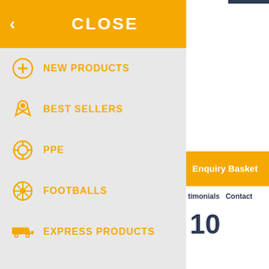CLOSE
NEW PRODUCTS
BEST SELLERS
PPE
FOOTBALLS
EXPRESS PRODUCTS
Enquiry Basket
timonials   Contact
10
nce